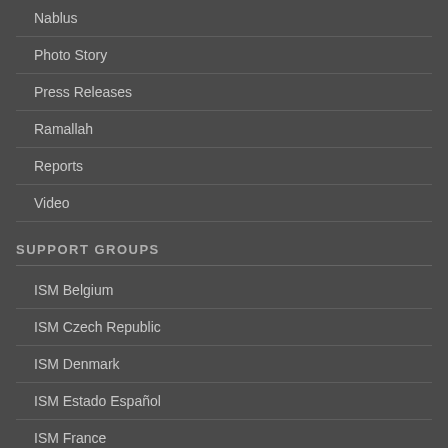Nablus
Photo Story
Press Releases
Ramallah
Reports
Video
SUPPORT GROUPS
ISM Belgium
ISM Czech Republic
ISM Denmark
ISM Estado Español
ISM France
ISM Germany (email)